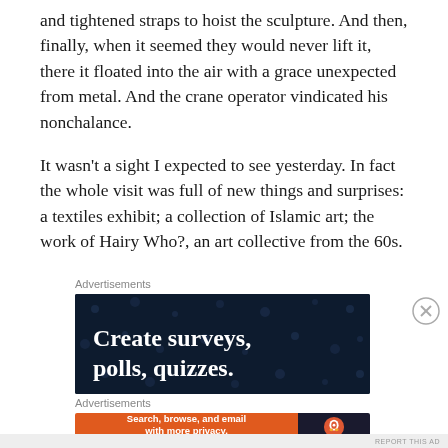and tightened straps to hoist the sculpture. And then, finally, when it seemed they would never lift it, there it floated into the air with a grace unexpected from metal. And the crane operator vindicated his nonchalance.
It wasn't a sight I expected to see yesterday. In fact the whole visit was full of new things and surprises: a textiles exhibit; a collection of Islamic art; the work of Hairy Who?, an art collective from the 60s.
Advertisements
[Figure (screenshot): Dark navy advertisement banner with white bold text reading 'Create surveys, polls, quizzes.' with decorative dot pattern background.]
Advertisements
[Figure (screenshot): DuckDuckGo advertisement with orange left panel reading 'Search, browse, and email with more privacy. All in One Free App' and dark right panel with DuckDuckGo duck logo.]